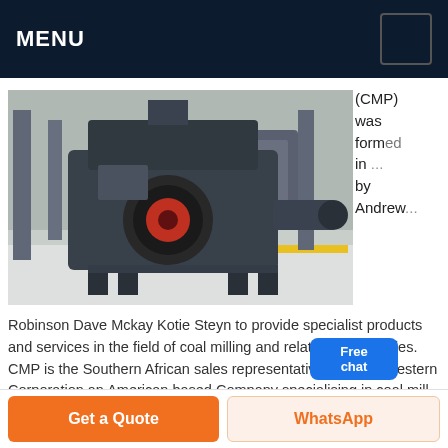MENU
[Figure (photo): Industrial coal milling machine (large black centrifugal grinder) inside a factory/warehouse setting with concrete floor. Yellow safety line visible on floor, steel structure supports in background.]
(CMP) was formed in ... by Andrew Robinson Dave Mckay Kotie Steyn to provide specialist products and services in the field of coal milling and related technologies. CMP is the Southern African sales representative for Southwestern Corporation an American based Company specialising in coal mill maintenance and